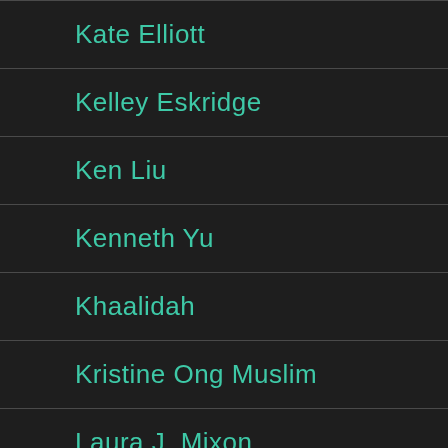Kate Elliott
Kelley Eskridge
Ken Liu
Kenneth Yu
Khaalidah
Kristine Ong Muslim
Laura J. Mixon
Lavie Tidhar